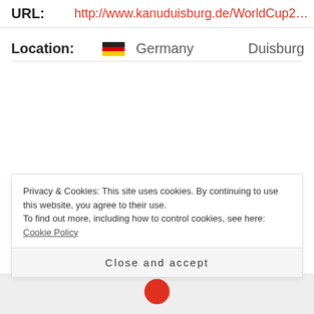URL: http://www.kanuduisburg.de/WorldCup2...
Location: Germany Duisburg
MARCH 31, 2016
ALLSPORTDB
Privacy & Cookies: This site uses cookies. By continuing to use this website, you agree to their use.
To find out more, including how to control cookies, see here: Cookie Policy
Close and accept